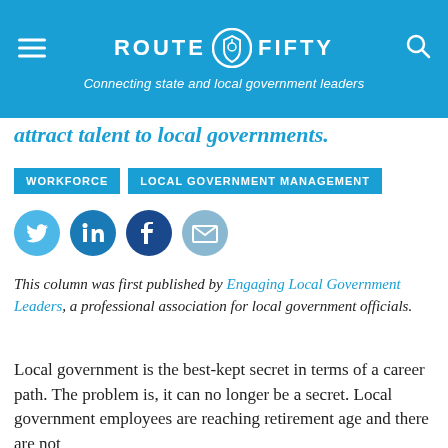ROUTE FIFTY — Connecting state and local government leaders
attract talent to local governments.
WORKFORCE   LOCAL GOVERNMENT MANAGEMENT
[Figure (infographic): Social media share icons: Twitter, LinkedIn, Facebook, Email]
This column was first published by Engaging Local Government Leaders, a professional association for local government officials.
Local government is the best-kept secret in terms of a career path. The problem is, it can no longer be a secret. Local government employees are reaching retirement age and there are not